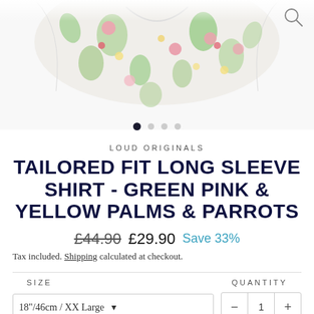[Figure (photo): Partial photo of a floral-patterned long-sleeve shirt with green palm leaves, pink and yellow parrots on a white background, partially cropped at top.]
LOUD ORIGINALS
TAILORED FIT LONG SLEEVE SHIRT - GREEN PINK & YELLOW PALMS & PARROTS
£44.90  £29.90  Save 33%
Tax included. Shipping calculated at checkout.
SIZE  QUANTITY
18"/46cm / XX Large  M  1